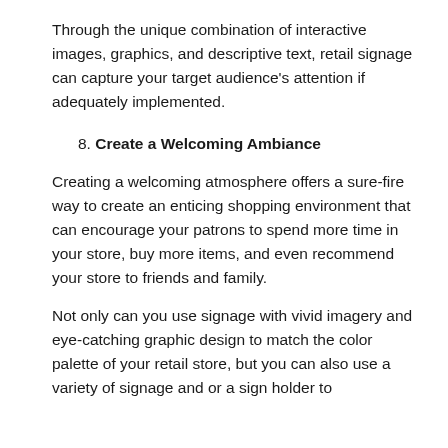Through the unique combination of interactive images, graphics, and descriptive text, retail signage can capture your target audience's attention if adequately implemented.
8. Create a Welcoming Ambiance
Creating a welcoming atmosphere offers a sure-fire way to create an enticing shopping environment that can encourage your patrons to spend more time in your store, buy more items, and even recommend your store to friends and family.
Not only can you use signage with vivid imagery and eye-catching graphic design to match the color palette of your retail store, but you can also use a variety of signage and or a sign holder to